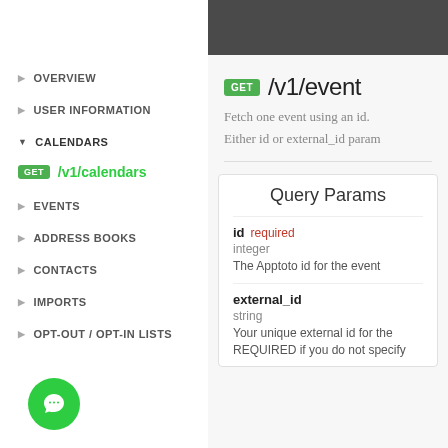▶ OVERVIEW
▶ USER INFORMATION
▼ CALENDARS
GET /v1/calendars
▶ EVENTS
▶ ADDRESS BOOKS
▶ CONTACTS
▶ IMPORTS
▶ OPT-OUT / OPT-IN LISTS
GET /v1/event
Fetch one event using an id.
Either id or external_id param
Query Params
id required
integer
The Apptoto id for the event
external_id
string
Your unique external id for the...
REQUIRED if you do not specify...